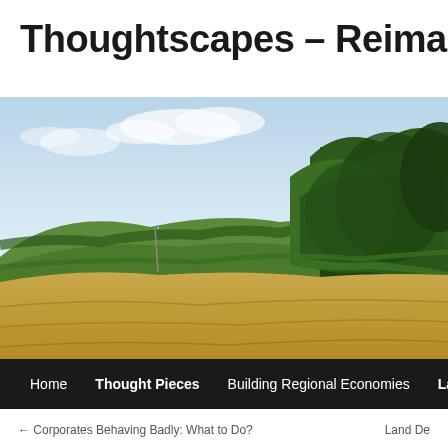Thoughtscapes – Reimagining
[Figure (photo): A rural landscape photograph showing a golden wheat field in the foreground, rolling green hills with hedgerows in the middle ground, and dense green trees on the right side, under a partly cloudy blue sky.]
Home  Thought Pieces  Building Regional Economies  Land Use
← Corporates Behaving Badly: What to Do?    Land De